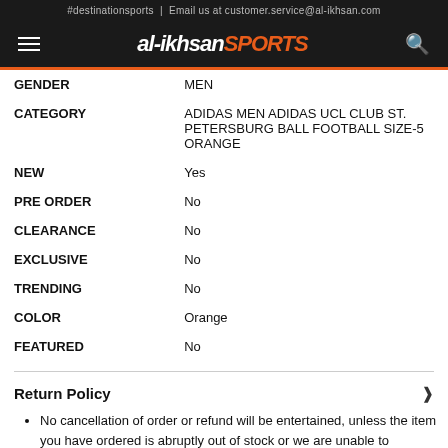#destinationsports | Email us at customer.service@al-ikhsan.com
[Figure (logo): al-ikhsan SPORTS logo with hamburger menu and search icon on dark navigation bar]
| GENDER | MEN |
| CATEGORY | ADIDAS MEN ADIDAS UCL CLUB ST. PETERSBURG BALL FOOTBALL SIZE-5 ORANGE |
| NEW | Yes |
| PRE ORDER | No |
| CLEARANCE | No |
| EXCLUSIVE | No |
| TRENDING | No |
| COLOR | Orange |
| FEATURED | No |
Return Policy
No cancellation of order or refund will be entertained, unless the item you have ordered is abruptly out of stock or we are unable to